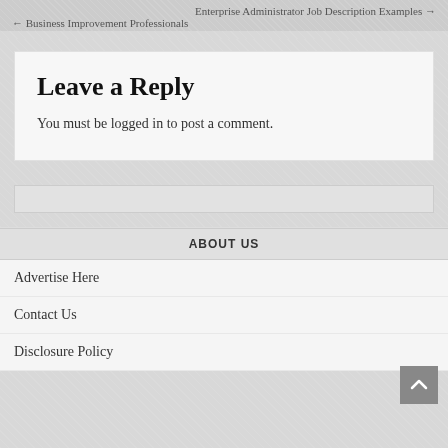Enterprise Administrator Job Description Examples →
← Business Improvement Professionals
Leave a Reply
You must be logged in to post a comment.
ABOUT US
Advertise Here
Contact Us
Disclosure Policy